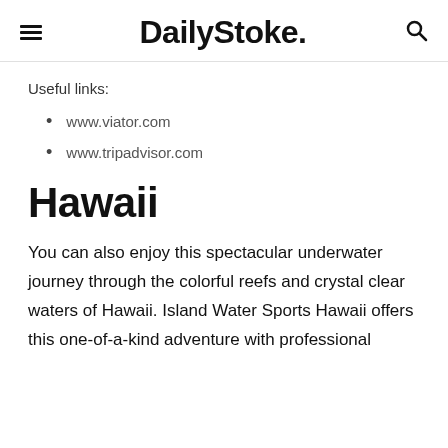DailyStoke.
Useful links:
www.viator.com
www.tripadvisor.com
Hawaii
You can also enjoy this spectacular underwater journey through the colorful reefs and crystal clear waters of Hawaii. Island Water Sports Hawaii offers this one-of-a-kind adventure with professional